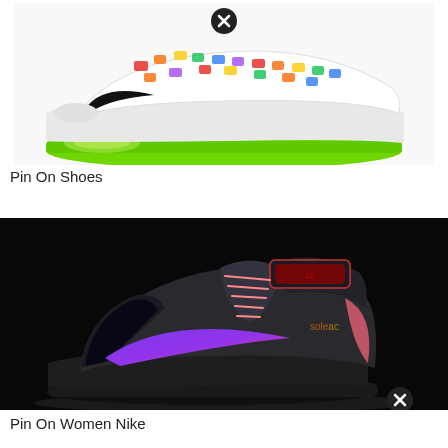[Figure (photo): White Nike sneaker with colorful floral/fruit pattern on upper and bright green Air Max sole, shown on white background with black speckles. A black close/remove button (X icon) is visible at top center.]
Pin On Shoes
[Figure (photo): Nike LeBron 12 basketball shoe photographed against a black background. The shoe is primarily dark gray/black with a purple-pink iridescent Swoosh logo, pink/salmon accents on the laces and heel, and a reflective toe box. A 'soleac' watermark is visible on the right side. A black close/remove button (X icon) is visible at bottom right.]
Pin On Women Nike